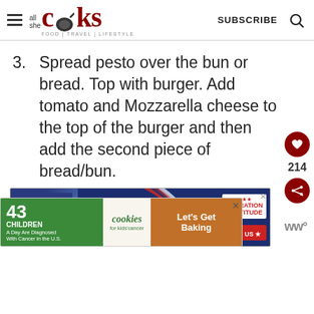all she cooks | FOOD | TRAVEL | LIFESTYLE | SUBSCRIBE
3. Spread pesto over the bun or bread. Top with burger. Add tomato and Mozzarella cheese to the top of the burger and then add the second piece of bread/bun.
[Figure (screenshot): Advertisement banner: GO BEYOND SAYING THANK YOU - Operation Gratitude JOIN US]
[Figure (screenshot): Advertisement: 43 CHILDREN A Day Are Diagnosed With Cancer in the U.S. - cookies for kids cancer - Let's Get Baking]